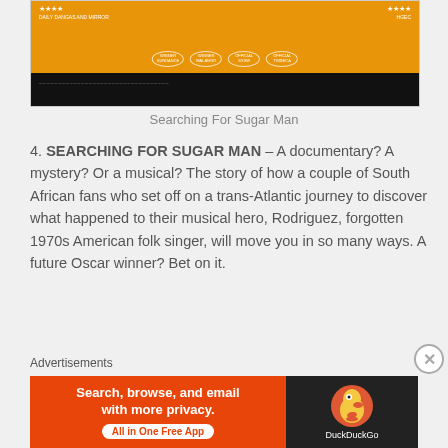[Figure (photo): Movie poster for 'Searching For Sugar Man' with orange background, award badges, and dark bottom strip with credits]
Searching For Sugar Man
4. SEARCHING FOR SUGAR MAN – A documentary? A mystery? Or a musical? The story of how a couple of South African fans who set off on a trans-Atlantic journey to discover what happened to their musical hero, Rodriguez, forgotten 1970s American folk singer, will move you in so many ways. A future Oscar winner? Bet on it.
via Channel24's Top 12 Movies of 2012 | Channel24.
Advertisements
[Figure (screenshot): DuckDuckGo advertisement banner: orange left side says 'Search, browse, and email with more privacy. All in One Free App' and dark right side shows DuckDuckGo logo]